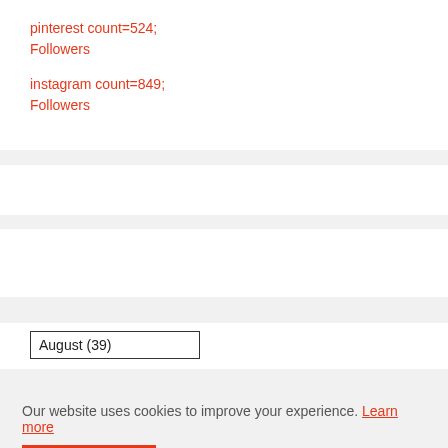pinterest count=524;
Followers
instagram count=849;
Followers
August (39)
Our website uses cookies to improve your experience. Learn more
Accept !